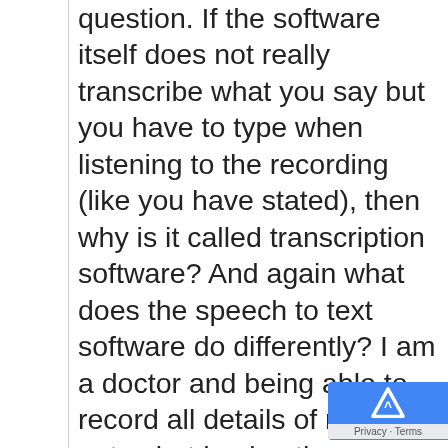question. If the software itself does not really transcribe what you say but you have to type when listening to the recording (like you have stated), then why is it called transcription software? And again what does the speech to text software do differently? I am a doctor and being able to record all details of my notes but having the majority of them typed out automatically would be a great help. I can go back and edit whatever the software did not get perfectly-but I wouldn't worry about paying for a software if I have to re-listen to everything. Might as well have a person type. But that gets very expensive very fast. Thank you in advance for sharing your knowledge and for your